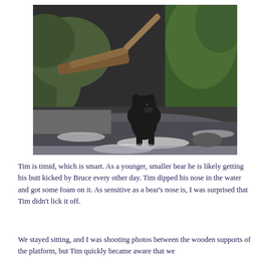[Figure (photo): A black bear standing in a rocky stream or creek, with moss-covered rocks and greenery on the banks, and driftwood visible in the background. The bear is wading in shallow water with white foam visible.]
Tim is timid, which is smart. As a younger, smaller bear he is likely getting his butt kicked by Bruce every other day. Tim dipped his nose in the water and got some foam on it. As sensitive as a bear's nose is, I was surprised that Tim didn't lick it off.
We stayed sitting, and I was shooting photos between the wooden supports of the platform, but Tim quickly became aware that we